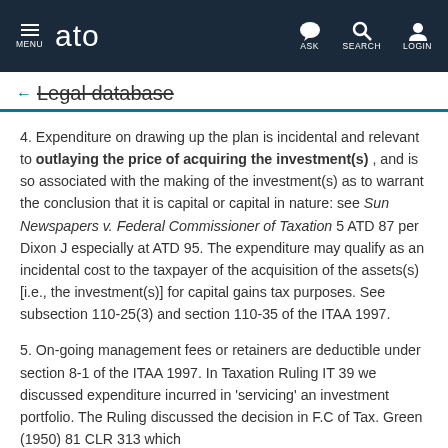MENU  ato  ASK  SEARCH  LOGIN
← Legal database
4. Expenditure on drawing up the plan is incidental and relevant to outlaying the price of acquiring the investment(s) , and is so associated with the making of the investment(s) as to warrant the conclusion that it is capital or capital in nature: see Sun Newspapers v. Federal Commissioner of Taxation 5 ATD 87 per Dixon J especially at ATD 95. The expenditure may qualify as an incidental cost to the taxpayer of the acquisition of the assets(s) [i.e., the investment(s)] for capital gains tax purposes. See subsection 110-25(3) and section 110-35 of the ITAA 1997.
5. On-going management fees or retainers are deductible under section 8-1 of the ITAA 1997. In Taxation Ruling IT 39 we discussed expenditure incurred in 'servicing' an investment portfolio. The Ruling discussed the decision in F.C of Tax. Green (1950) 81 CLR 313 which